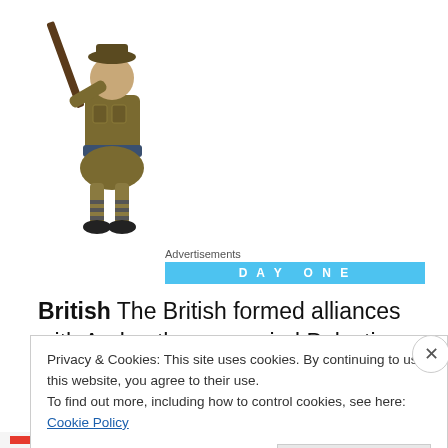[Figure (illustration): A cartoon caricature of a British soldier/musketeer figure in historical costume (brownish tunic, puffy shorts, striped stockings) carrying a large rifle/musket on his shoulder, walking.]
Advertisements
[Figure (screenshot): Blue advertisement banner with text 'DAY ONE' and other text partially visible.]
British The British formed alliances with Arabs, then occupied Palestine. This cartoon is an oversimplification, and uses this British caricature as a stand-in for
Privacy & Cookies: This site uses cookies. By continuing to use this website, you agree to their use.
To find out more, including how to control cookies, see here: Cookie Policy
Close and accept